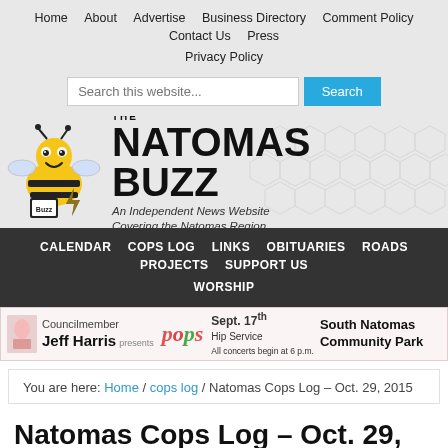Home | About | Advertise | Business Directory | Comment Policy | Contact Us | Press | Privacy Policy
[Figure (screenshot): Search bar with placeholder 'Search this website...' and a blue Search button]
[Figure (logo): The Natomas Buzz logo with cartoon bee, large bold text 'NATOMAS BUZZ' and tagline 'An Independent News Website Covering the Natomas Region' on honeycomb background]
CALENDAR | COPS LOG | LINKS | OBITUARIES | ROADS | PROJECTS | SUPPORT US | WORSHIP
[Figure (infographic): Ad banner: Councilmember Jeff Harris presents POPS, Sept. 17th Hip Service, All concerts begin at 6 p.m., South Natomas Community Park]
You are here: Home / cops log / Natomas Cops Log – Oct. 29, 2015
Natomas Cops Log – Oct. 29, 2015